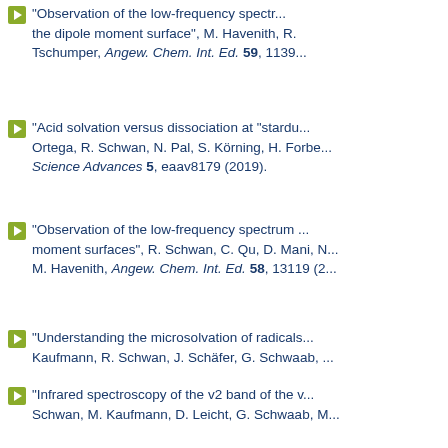"Observation of the low-frequency spectrum ... the dipole moment surface", M. Havenith, R. ... Tschumper, Angew. Chem. Int. Ed. 59, 1139...
"Acid solvation versus dissociation at 'stardu... Ortega, R. Schwan, N. Pal, S. Körning, H. Forbe... Science Advances 5, eaav8179 (2019).
"Observation of the low-frequency spectrum ... moment surfaces", R. Schwan, C. Qu, D. Mani, N... M. Havenith, Angew. Chem. Int. Ed. 58, 13119 (2...
"Understanding the microsolvation of radicals... Kaufmann, R. Schwan, J. Schäfer, G. Schwaab, ...
"Infrared spectroscopy of the v2 band of the v... Schwan, M. Kaufmann, D. Leicht, G. Schwaab, M...
"Understanding the ionic liquid [NC 4111][NT... Kaufmann, G. Schwaab, M. Havenith, C.T. Wolke... Chem. Chem. Phys. 17, 8518 (2015).
"High resolution spectroscopy of HCl-water c...